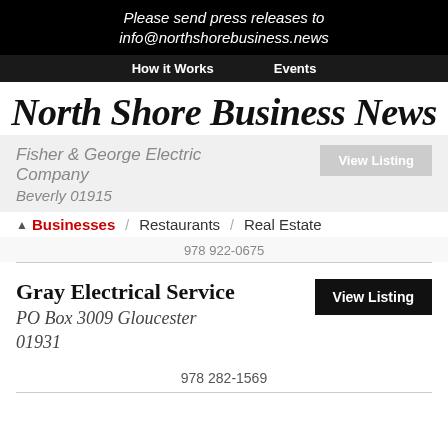Please send press releases to info@northshorebusiness.news
How it Works   Events
North Shore Business News
Fisher & George Electric Company
Businesses   Restaurants   Real Estate
Beverly 01915
978 922-0675
Gray Electrical Service
PO Box 3009 Gloucester 01931
978 282-1569